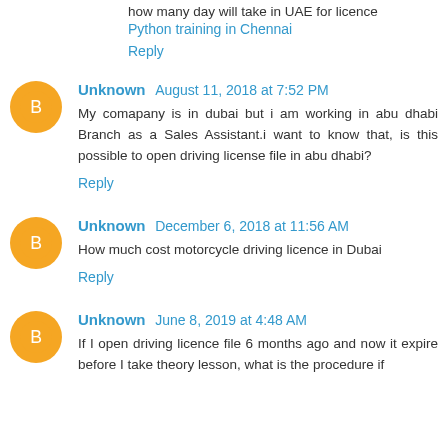how many day will take in UAE for licence
Python training in Chennai
Reply
Unknown August 11, 2018 at 7:52 PM
My comapany is in dubai but i am working in abu dhabi Branch as a Sales Assistant.i want to know that, is this possible to open driving license file in abu dhabi?
Reply
Unknown December 6, 2018 at 11:56 AM
How much cost motorcycle driving licence in Dubai
Reply
Unknown June 8, 2019 at 4:48 AM
If I open driving licence file 6 months ago and now it expire before I take theory lesson, what is the procedure if